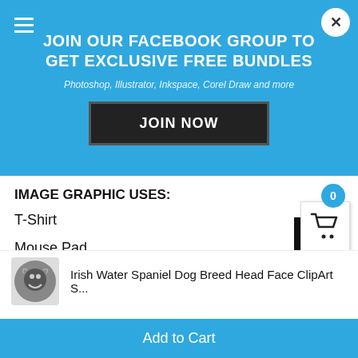JOIN OUR FACEBOOK GROUP TO GET EXCLUSIVE FREE BUNDLES
Photoshop, Illustrator, Inkspace, Corel Draw and more
JOIN NOW
IMAGE GRAPHIC USES:
T-Shirt
Mouse Pad
Coffee Cup/Mug
Posters
Stickers
gnets
tons
Irish Water Spaniel Dog Breed Head Face ClipArt S...
Add to Cart